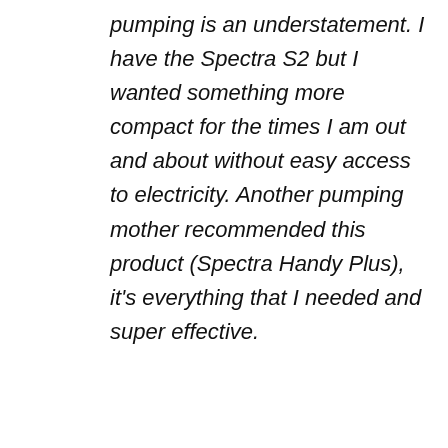pumping is an understatement. I have the Spectra S2 but I wanted something more compact for the times I am out and about without easy access to electricity. Another pumping mother recommended this product (Spectra Handy Plus), it's everything that I needed and super effective.